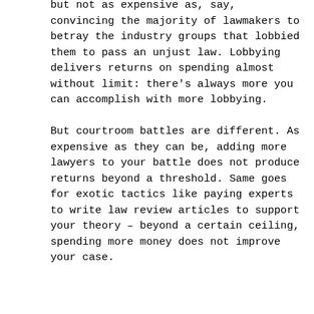but not as expensive as, say, convincing the majority of lawmakers to betray the industry groups that lobbied them to pass an unjust law. Lobbying delivers returns on spending almost without limit: there's always more you can accomplish with more lobbying.

But courtroom battles are different. As expensive as they can be, adding more lawyers to your battle does not produce returns beyond a threshold. Same goes for exotic tactics like paying experts to write law review articles to support your theory – beyond a certain ceiling, spending more money does not improve your case.